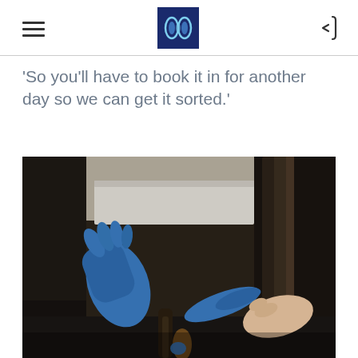Navigation header with hamburger menu, logo, and back button
'So you'll have to book it in for another day so we can get it sorted.'
[Figure (photo): Close-up photo of gloved hands (blue rubber gloves) working on a dark mechanical or plumbing component, possibly under a vehicle or in a tight space. One hand holds or manipulates a blue rubber glove or material near what appears to be a cable or pipe.]